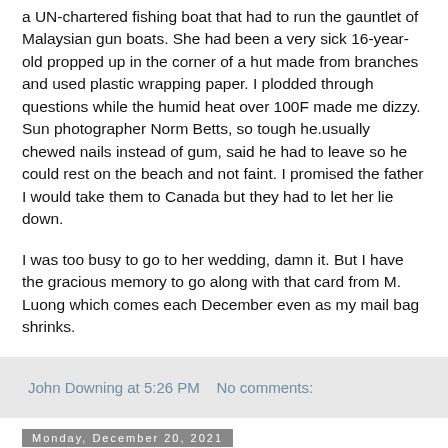a UN-chartered fishing boat that had to run the gauntlet of Malaysian gun boats. She had been a very sick 16-year-old propped up in the corner of a hut made from branches and used plastic wrapping paper. I plodded through questions while the humid heat over 100F made me dizzy. Sun photographer Norm Betts, so tough he.usually chewed nails instead of gum, said he had to leave so he could rest on the beach and not faint. I promised the father I would take them to Canada but they had to let her lie down.

I was too busy to go to her wedding, damn it. But I have the gracious memory to go along with that card from M. Luong which comes each December even as my mail bag shrinks.
John Downing at 5:26 PM   No comments:
Monday, December 20, 2021
LET'S GET TOUGH ON ANTI-VAXERS...